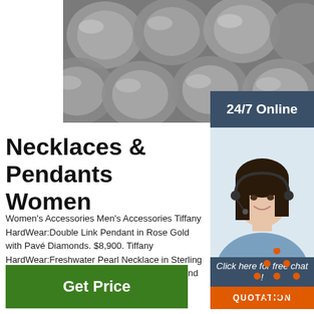[Figure (photo): Photo of steel metal rods/bars close-up, grey cylindrical bars stacked together]
24/7 Online
[Figure (photo): Photo of a smiling female customer service advisor wearing a headset]
Click here for free chat !
QUOTATION
Necklaces & Pendants Women
Women's Accessories Men's Accessories Tiffany HardWear:Double Link Pendant in Rose Gold with Pavé Diamonds. $8,900. Tiffany HardWear:Freshwater Pearl Necklace in Sterling Silver, 32' $1,375.00. Tiffany Victoria®:Diamond Vine Circle Pendant in Platinum. $7,900.00.
Get Price
[Figure (logo): TOP logo with orange triangle/arrow up icon and orange text TOP]